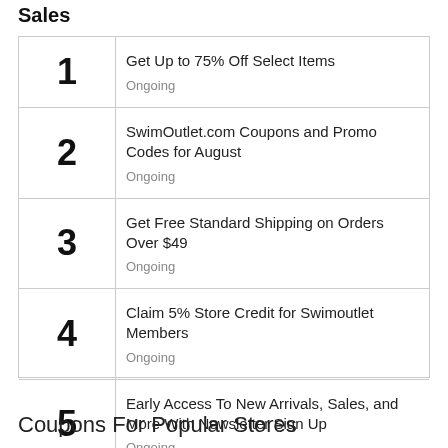Sales
| # | Deal | Status |
| --- | --- | --- |
| 1 | Get Up to 75% Off Select Items | Ongoing |
| 2 | SwimOutlet.com Coupons and Promo Codes for August | Ongoing |
| 3 | Get Free Standard Shipping on Orders Over $49 | Ongoing |
| 4 | Claim 5% Store Credit for Swimoutlet Members | Ongoing |
| 5 | Early Access To New Arrivals, Sales, and More With Newsletter Sign Up | Ongoing |
Coupons For Popular Stores